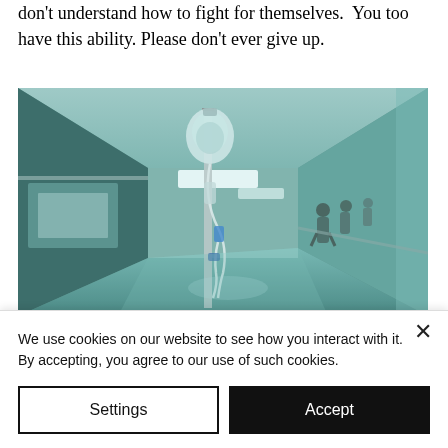don't understand how to fight for themselves.  You too have this ability. Please don't ever give up.
[Figure (photo): Hospital corridor with an IV drip bag in the foreground and blurred medical staff walking in the background. Teal/cyan toned image.]
Dr. [REDACTED]
We use cookies on our website to see how you interact with it. By accepting, you agree to our use of such cookies.